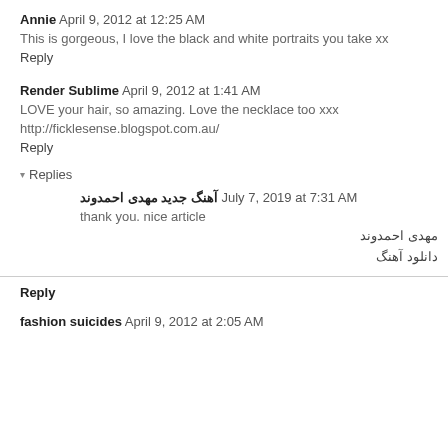Annie  April 9, 2012 at 12:25 AM
This is gorgeous, I love the black and white portraits you take xx
Reply
Render Sublime  April 9, 2012 at 1:41 AM
LOVE your hair, so amazing. Love the necklace too xxx
http://ficklesense.blogspot.com.au/
Reply
Replies
آهنگ جدید مهدی احمدوند  July 7, 2019 at 7:31 AM
thank you. nice article
مهدی احمدوند
دانلود آهنگ
Reply
fashion suicides  April 9, 2012 at 2:05 AM